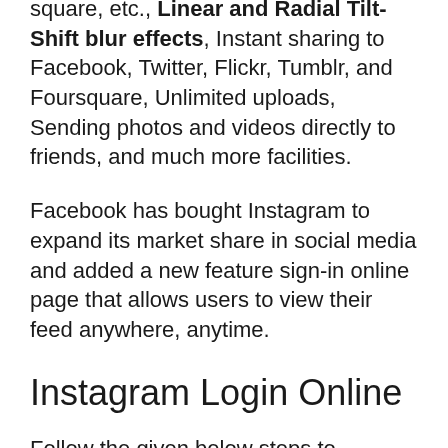square, etc., Linear and Radial Tilt-Shift blur effects, Instant sharing to Facebook, Twitter, Flickr, Tumblr, and Foursquare, Unlimited uploads, Sending photos and videos directly to friends, and much more facilities.
Facebook has bought Instagram to expand its market share in social media and added a new feature sign-in online page that allows users to view their feed anywhere, anytime.
Instagram Login Online
Follow the given below steps to Instagram Login Online through a PC or Mac, using any web browser.